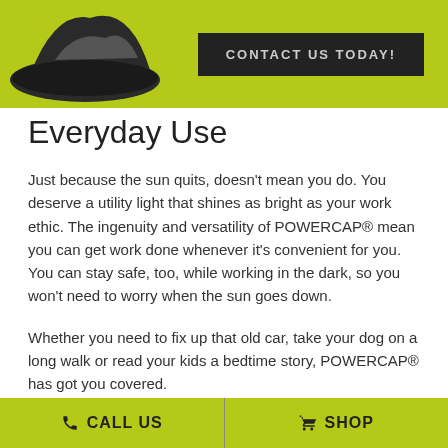[Figure (photo): Green banner with a black cap/hat product image on the left and a dark 'CONTACT US TODAY!' button on the right, on a yellow-green (lime) background.]
Everyday Use
Just because the sun quits, doesn't mean you do. You deserve a utility light that shines as bright as your work ethic. The ingenuity and versatility of POWERCAP® mean you can get work done whenever it's convenient for you. You can stay safe, too, while working in the dark, so you won't need to worry when the sun goes down.
Whether you need to fix up that old car, take your dog on a long walk or read your kids a bedtime story, POWERCAP® has got you covered.
Maintenance and home improvement
CALL US   SHOP